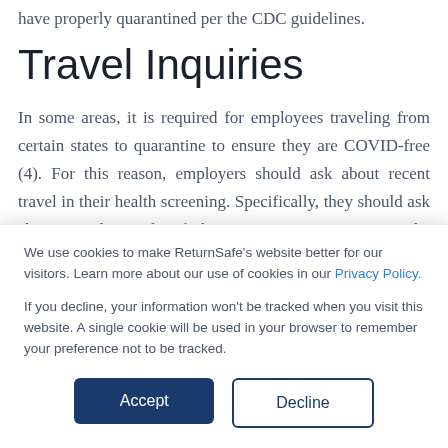have properly quarantined per the CDC guidelines.
Travel Inquiries
In some areas, it is required for employees traveling from certain states to quarantine to ensure they are COVID-free (4). For this reason, employers should ask about recent travel in their health screening. Specifically, they should ask about travel outside of the country or to states on the mandatory quarantine list (4). If yes, they should not enter the workplace
We use cookies to make ReturnSafe’s website better for our visitors. Learn more about our use of cookies in our Privacy Policy.
If you decline, your information won’t be tracked when you visit this website. A single cookie will be used in your browser to remember your preference not to be tracked.
Accept
Decline